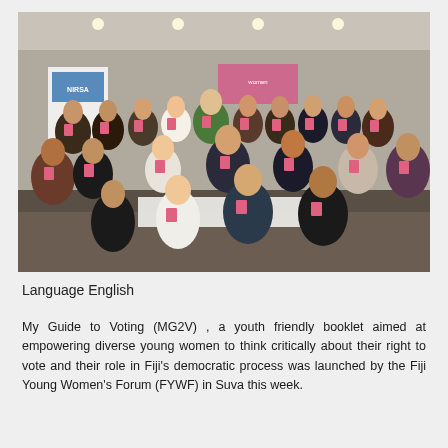[Figure (photo): Group photo of approximately 40 people in a conference room, holding small booklets. They are smiling and posing for the photo. A banner is visible in the background. The setting appears to be an indoor event venue with recessed lighting.]
Language English
My Guide to Voting (MG2V) , a youth friendly booklet aimed at empowering diverse young women to think critically about their right to vote and their role in Fiji's democratic process was launched by the Fiji Young Women's Forum (FYWF) in Suva this week.